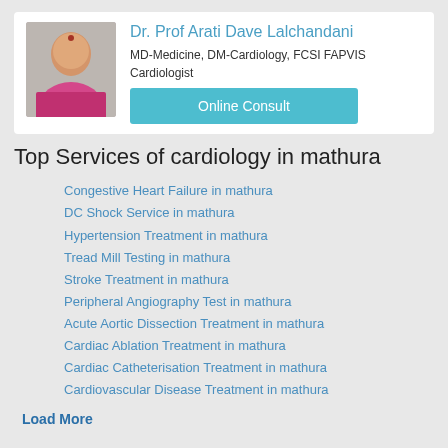[Figure (photo): Profile photo of Dr. Prof Arati Dave Lalchandani, a female doctor smiling, wearing a pink outfit with a bindi.]
Dr. Prof Arati Dave Lalchandani
MD-Medicine, DM-Cardiology, FCSI FAPVIS
Cardiologist
Online Consult
Top Services of cardiology in mathura
Congestive Heart Failure in mathura
DC Shock Service in mathura
Hypertension Treatment in mathura
Tread Mill Testing in mathura
Stroke Treatment in mathura
Peripheral Angiography Test in mathura
Acute Aortic Dissection Treatment in mathura
Cardiac Ablation Treatment in mathura
Cardiac Catheterisation Treatment in mathura
Cardiovascular Disease Treatment in mathura
Load More